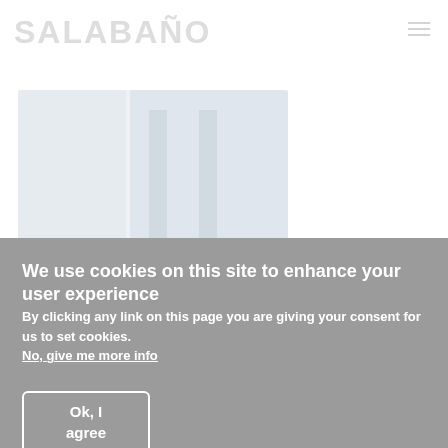[Figure (logo): SALABAND logo text in large faded grey letters on white background]
[Figure (photo): Faded/washed out hero image of fitness or band equipment, very light and barely visible]
We use cookies on this site to enhance your user experience
By clicking any link on this page you are giving your consent for us to set cookies.
No, give me more info
Ok, I agree